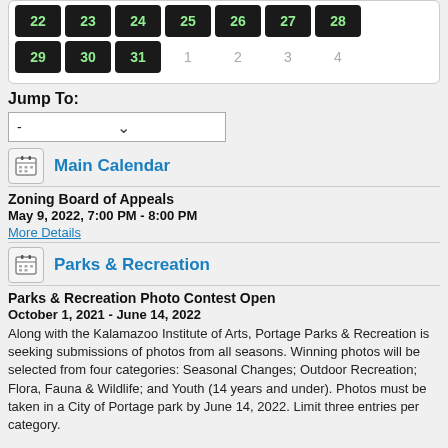[Figure (other): Calendar grid showing days 22-31 and inactive days 1-4]
Jump To:
[Figure (other): Dropdown selector with dash placeholder and chevron arrow]
[Figure (other): Main Calendar icon with calendar image]
Main Calendar
Zoning Board of Appeals
May 9, 2022, 7:00 PM - 8:00 PM
More Details
[Figure (other): Parks & Recreation icon with calendar image]
Parks & Recreation
Parks & Recreation Photo Contest Open
October 1, 2021 - June 14, 2022
Along with the Kalamazoo Institute of Arts, Portage Parks & Recreation is seeking submissions of photos from all seasons. Winning photos will be selected from four categories: Seasonal Changes; Outdoor Recreation; Flora, Fauna & Wildlife; and Youth (14 years and under). Photos must be taken in a City of Portage park by June 14, 2022. Limit three entries per category.